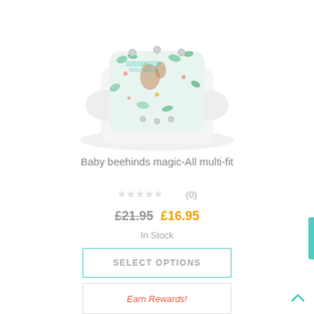[Figure (photo): Product photo of a Baby beehinds magic-All multi-fit cloth diaper/nappy with colorful animal and floral print pattern in green, tan, and peach tones on white background.]
Baby beehinds magic-All multi-fit
★★★★★ (0)
£21.95 £16.95
In Stock
SELECT OPTIONS
Earn Rewards!